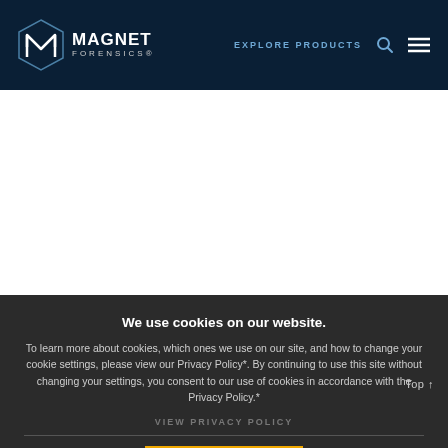MAGNET FORENSICS — EXPLORE PRODUCTS
We use cookies on our website. To learn more about cookies, which ones we use on our site, and how to change your cookie settings, please view our Privacy Policy*. By continuing to use this site without changing your settings, you consent to our use of cookies in accordance with the Privacy Policy.*
VIEW PRIVACY POLICY
ACCEPT